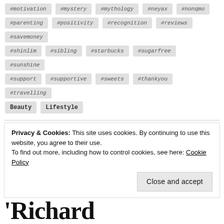#motivation
#mystery
#mythology
#neyax
#nonqmo
#parenting
#positivity
#recognition
#reviews
#savemoney
#shinlim
#sibling
#starbucks
#sugarfree
#sunshine
#support
#supportive
#sweets
#thankyou
#travelling
Beauty
Lifestyle
Privacy & Cookies: This site uses cookies. By continuing to use this website, you agree to their use. To find out more, including how to control cookies, see here: Cookie Policy
Close and accept
'Richard